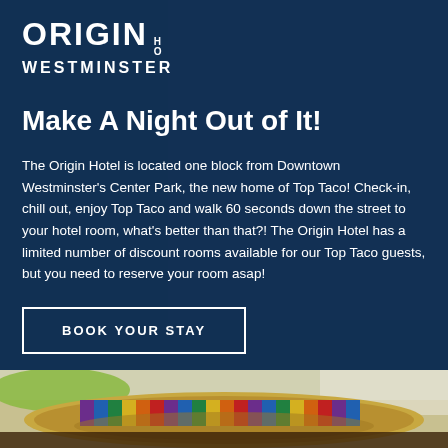ORIGIN HOTEL WESTMINSTER
Make A Night Out of It!
The Origin Hotel is located one block from Downtown Westminster's Center Park, the new home of Top Taco!  Check-in, chill out, enjoy Top Taco and walk 60 seconds down the street to your hotel room, what's better than that?! The Origin Hotel has a limited number of discount rooms available for our Top Taco guests, but you need to reserve your room asap!
BOOK YOUR STAY
[Figure (photo): Bottom strip showing a colorful striped sombrero hat at a outdoor event]